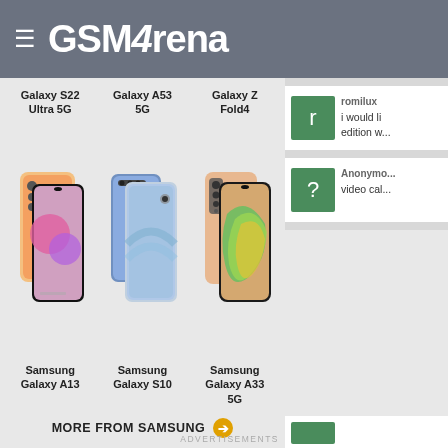GSMArena
[Figure (infographic): Samsung product advertisement showing Galaxy S22 Ultra 5G, Galaxy A53 5G, Galaxy Z Fold4 at top, with phone images of Samsung Galaxy A13, Samsung Galaxy S10, Samsung Galaxy A33 5G below, and a MORE FROM SAMSUNG button]
ADVERTISEMENTS
romilux
i would li... edition w...
Anonymo...
video cal...